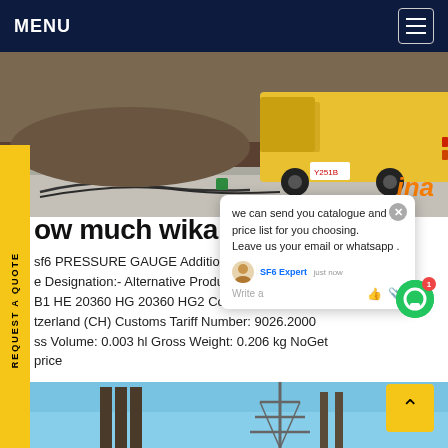MENU
[Figure (photo): Outdoor photo of a yellow truck/vehicle near a curb with cables on the ground, and orange italic text 'ina' partly visible]
REQUEST A QUOTE
[Figure (screenshot): Chat popup overlay with message: 'we can send you catalogue and price list for you choosing. Leave us your email or whatsapp .' Agent labeled SF6 Expert, just now, Write a reply area with thumbs up and attachment icons. Green circle chat badge with red notification badge showing 1.]
ow much wika sf6 d bid
sf6 PRESSURE GAUGE Additio... ABB e Designation:- Alternative Produ... ce: B1 HE 20360 HG 20360 HG2 Country of Origin: tzerland (CH) Customs Tariff Number: 9026.2000 ss Volume: 0.003 hl Gross Weight: 0.206 kg NoGet price
[Figure (photo): Bottom photo showing electrical power transmission tower and insulators against a blue sky]